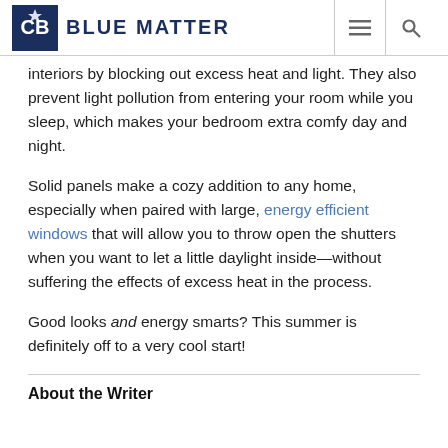BLUE MATTER
interiors by blocking out excess heat and light. They also prevent light pollution from entering your room while you sleep, which makes your bedroom extra comfy day and night.
Solid panels make a cozy addition to any home, especially when paired with large, energy efficient windows that will allow you to throw open the shutters when you want to let a little daylight inside—without suffering the effects of excess heat in the process.
Good looks and energy smarts? This summer is definitely off to a very cool start!
About the Writer